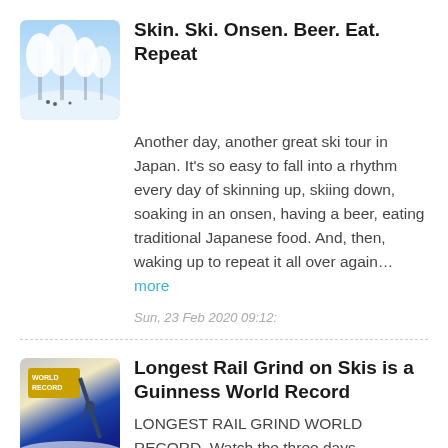[Figure (photo): Thumbnail photo of snowy Japan ski scene with snow-covered trees]
Skin. Ski. Onsen. Beer. Eat. Repeat
Another day, another great ski tour in Japan. It's so easy to fall into a rhythm every day of skinning up, skiing down, soaking in an onsen, having a beer, eating traditional Japanese food. And, then, waking up to repeat it all over again...more
Sun, 23 Feb 2020 09:12:
[Figure (photo): Thumbnail image showing World Record text with skier on rail]
Longest Rail Grind on Skis is a Guinness World Record
LONGEST RAIL GRIND WORLD RECORD. Watch the three days